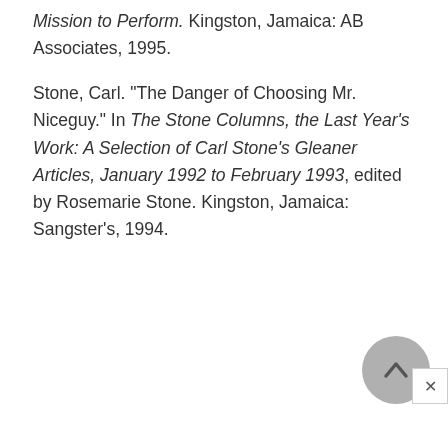Mission to Perform. Kingston, Jamaica: AB Associates, 1995.
Stone, Carl. "The Danger of Choosing Mr. Niceguy." In The Stone Columns, the Last Year's Work: A Selection of Carl Stone's Gleaner Articles, January 1992 to February 1993, edited by Rosemarie Stone. Kingston, Jamaica: Sangster's, 1994.